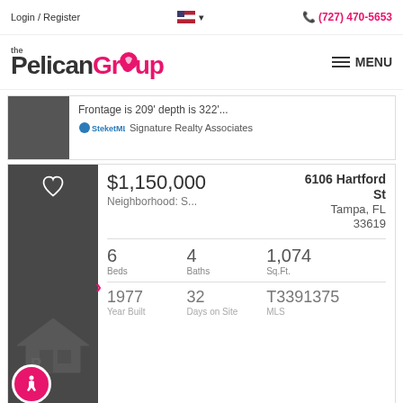Login / Register  🇺🇸 ▾   📞 (727) 470-5653
[Figure (logo): the PelicanGroup logo with pink accent and MENU hamburger button]
Frontage is 209' depth is 322'...
Signature Realty Associates
$1,150,000
Neighborhood: S...
6106 Hartford St Tampa, FL 33619
6  Beds   4  Baths   1,074  Sq.Ft.
1977  Year Built   32  Days on Site   T3391375  MLS